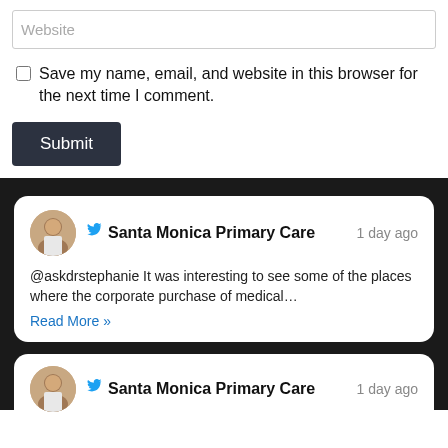Website
Save my name, email, and website in this browser for the next time I comment.
Submit
[Figure (screenshot): Twitter/social media embed card showing Santa Monica Primary Care tweet, 1 day ago: @askdrstephanie It was interesting to see some of the places where the corporate purchase of medical... Read More >>]
[Figure (screenshot): Partial Twitter/social media embed card showing Santa Monica Primary Care, 1 day ago (content cut off)]